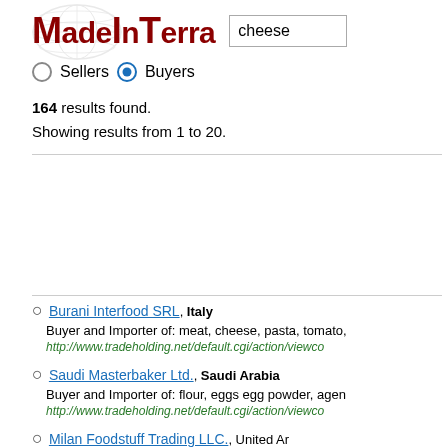MadeInTerra  [search box: cheese]
○ Sellers ● Buyers
164 results found.
Showing results from 1 to 20.
Burani Interfood SRL, Italy
Buyer and Importer of: meat, cheese, pasta, tomato, ...
http://www.tradeholding.net/default.cgi/action/viewco...
Saudi Masterbaker Ltd., Saudi Arabia
Buyer and Importer of: flour, eggs egg powder, agen...
http://www.tradeholding.net/default.cgi/action/viewco...
Milan Foodstuff Trading LLC., United Ar...